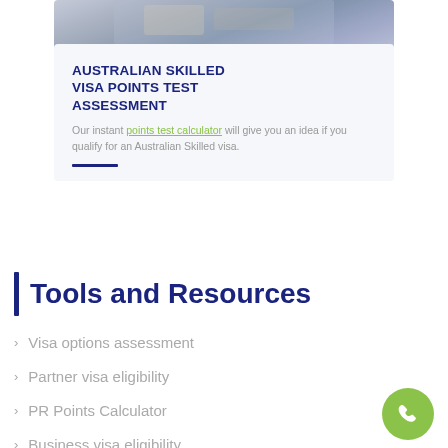[Figure (photo): Photo of a passport or documents on a wooden desk, partially visible at top of card]
AUSTRALIAN SKILLED VISA POINTS TEST ASSESSMENT
Our instant points test calculator will give you an idea if you qualify for an Australian Skilled visa.
Tools and Resources
Visa options assessment
Partner visa eligibility
PR Points Calculator
Business visa eligibility